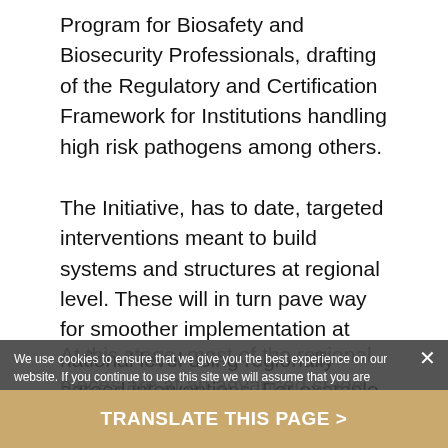Program for Biosafety and Biosecurity Professionals, drafting of the Regulatory and Certification Framework for Institutions handling high risk pathogens among others. The Initiative, has to date, targeted interventions meant to build systems and structures at regional level. These will in turn pave way for smoother implementation at national level using regionally agreed interventions. For example, the Regional Biosafety and Biosecurity Legal Framework defines the scope of legislation required for effective implementation. All what Member States will have to do is to domesticate the framework and align to national legislation. At this stage, most of the regional pieces are at an advanced stage that allows cascading to national level implementation. To ensure there is a coordinated and standardized approach at the national and continental level, Africa CDC ha...
We use cookies to ensure that we give you the best experience on our website. If you continue to use this site we will assume that you are happy with it.
TRANSLATE THIS PAGE >